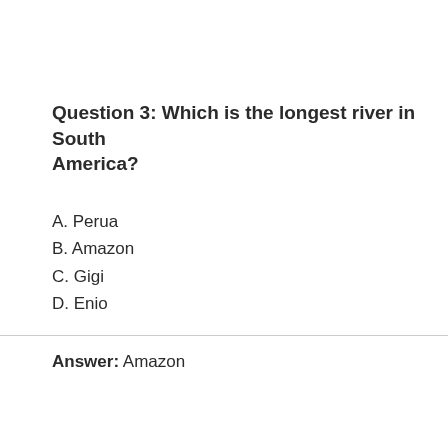Question 3: Which is the longest river in South America?
A. Perua
B. Amazon
C. Gigi
D. Enio
Answer: Amazon